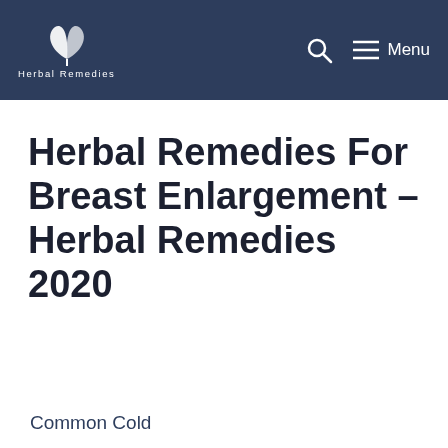Herbal Remedies
Herbal Remedies For Breast Enlargement – Herbal Remedies 2020
Common Cold